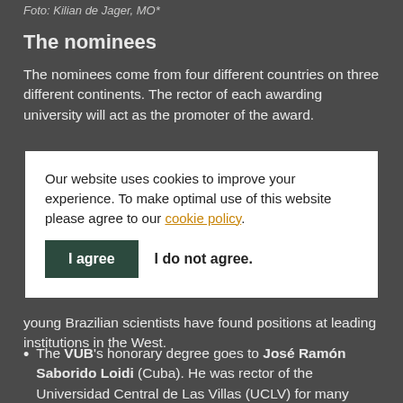Foto: Kilian de Jager, MO*
The nominees
The nominees come from four different countries on three different continents. The rector of each awarding university will act as the promoter of the award.
Our website uses cookies to improve your experience. To make optimal use of this website please agree to our cookie policy.
young Brazilian scientists have found positions at leading institutions in the West.
The VUB's honorary degree goes to José Ramón Saborido Loidi (Cuba). He was rector of the Universidad Central de Las Villas (UCLV) for many years and is now the country's minister of higher…